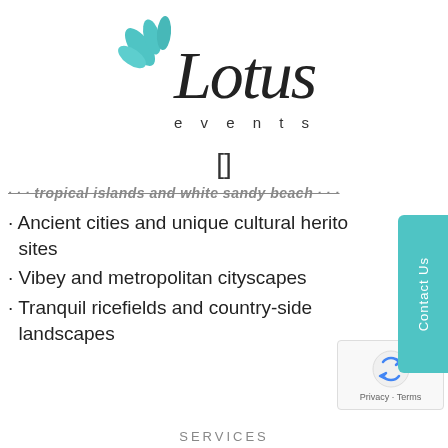[Figure (logo): Lotus Events logo with teal leaf/lotus graphic and handwritten 'Lotus' script with 'e v e n t s' text below]
· Ancient cities and unique cultural heritage sites
· Vibey and metropolitan cityscapes
· Tranquil ricefields and country-side landscapes
[Figure (other): reCAPTCHA widget with rotating arrows logo and Privacy/Terms text]
SERVICES